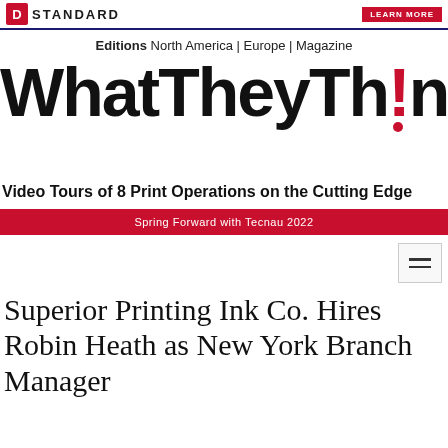STANDARD | LEARN MORE
Editions  North America | Europe | Magazine
[Figure (logo): WhatTheyThink logo with red exclamation mark]
Video Tours of 8 Print Operations on the Cutting Edge
Spring Forward with Tecnau 2022
Superior Printing Ink Co. Hires Robin Heath as New York Branch Manager